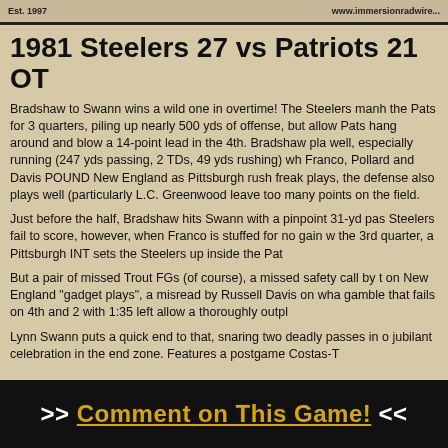Est. 1997 | www.immersionradwire...
1981 Steelers 27 vs Patriots 21 OT
Bradshaw to Swann wins a wild one in overtime! The Steelers manhandled the Pats for 3 quarters, piling up nearly 500 yds of offense, but allowed the Pats hang around and blow a 14-point lead in the 4th. Bradshaw played well, especially running (247 yds passing, 2 TDs, 49 yds rushing) while Franco, Pollard and Davis POUND New England as Pittsburgh rushed for freak plays, the defense also plays well (particularly L.C. Greenwood) but leave too many points on the field.
Just before the half, Bradshaw hits Swann with a pinpoint 31-yd pass. Steelers fail to score, however, when Franco is stuffed for no gain w... the 3rd quarter, a Pittsburgh INT sets the Steelers up inside the Pats...
But a pair of missed Trout FGs (of course), a missed safety call by t... on New England "gadget plays", a misread by Russell Davis on wha... gamble that fails on 4th and 2 with 1:35 left allow a thoroughly outpl...
Lynn Swann puts a quick end to that, snaring two deadly passes in o... jubilant celebration in the end zone. Features a postgame Costas-T...
>> Comment on This Game! <<